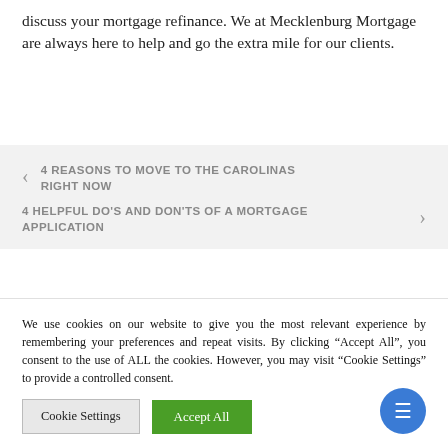discuss your mortgage refinance. We at Mecklenburg Mortgage are always here to help and go the extra mile for our clients.
< 4 REASONS TO MOVE TO THE CAROLINAS RIGHT NOW
4 HELPFUL DO'S AND DON'TS OF A MORTGAGE APPLICATION >
We use cookies on our website to give you the most relevant experience by remembering your preferences and repeat visits. By clicking “Accept All”, you consent to the use of ALL the cookies. However, you may visit "Cookie Settings" to provide a controlled consent.
Cookie Settings
Accept All